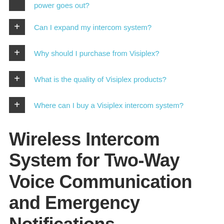power goes out?
Can I expand my intercom system?
Why should I purchase from Visiplex?
What is the quality of Visiplex products?
Where can I buy a Visiplex intercom system?
Wireless Intercom System for Two-Way Voice Communication and Emergency Notifications
Provide two-way voice communications throughout